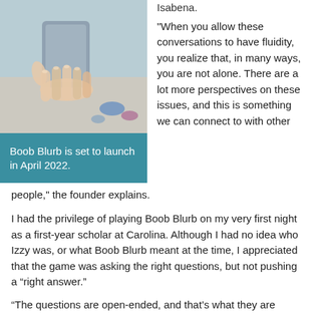[Figure (photo): Photo of a hand holding a card or phone over a table with colorful items]
Boob Blurb is set to launch in April 2022.
Isabena.

"When you allow these conversations to have fluidity, you realize that, in many ways, you are not alone. There are a lot more perspectives on these issues, and this is something we can connect to with other people," the founder explains.
I had the privilege of playing Boob Blurb on my very first night as a first-year scholar at Carolina. Although I had no idea who Izzy was, or what Boob Blurb meant at the time, I appreciated that the game was asking the right questions, but not pushing a “right answer.”
“The questions are open-ended, and that’s what they are supposed to be,” Izzy says. “There is no ‘right answer’ to how and if, for example, you remove your leg…”